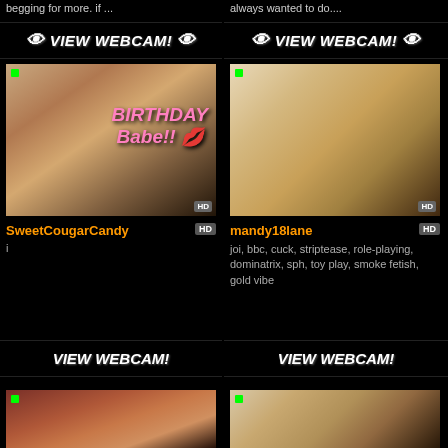begging for more. if ...
always wanted to do....
👁 VIEW WEBCAM! 👁
👁 VIEW WEBCAM! 👁
[Figure (photo): Thumbnail image with 'BIRTHDAY Babe!! 💋' text overlay]
SweetCougarCandy HD
i
[Figure (photo): Thumbnail of blonde woman]
mandy18lane HD
joi, bbc, cuck, striptease, role-playing, dominatrix, sph, toy play, smoke fetish, gold vibe
👁 VIEW WEBCAM! 👁
👁 VIEW WEBCAM! 👁
[Figure (photo): Thumbnail of person in red]
[Figure (photo): Thumbnail of blonde woman smiling]